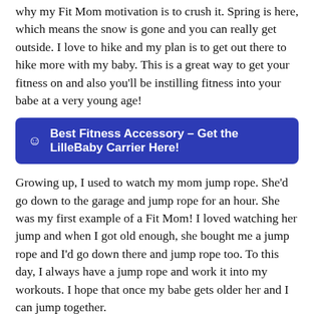why my Fit Mom motivation is to crush it. Spring is here, which means the snow is gone and you can really get outside. I love to hike and my plan is to get out there to hike more with my baby. This is a great way to get your fitness on and also you'll be instilling fitness into your babe at a very young age!
☺ Best Fitness Accessory – Get the LilleBaby Carrier Here!
Growing up, I used to watch my mom jump rope. She'd go down to the garage and jump rope for an hour. She was my first example of a Fit Mom! I loved watching her jump and when I got old enough, she bought me a jump rope and I'd go down there and jump rope too. To this day, I always have a jump rope and work it into my workouts. I hope that once my babe gets older her and I can jump together.
MY FIT MOM JOURNEY CONTINUES!